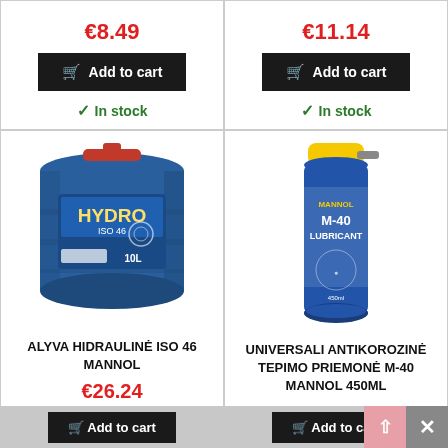€8.49
Add to cart
In stock
€11.14
Add to cart
In stock
[Figure (photo): Mannol Hydro ISO 46 hydraulic oil in a 10L blue plastic container]
ALYVA HIDRAULINĖ ISO 46 MANNOL
€26.24
[Figure (photo): Mannol M-40 Lubricant universal anti-corrosion spray 450ml in blue and yellow aerosol can]
UNIVERSALI ANTIKOROZINĖ TEPIMO PRIEMONĖ M-40 MANNOL 450ML
€3.71
Add to cart
Add to cart